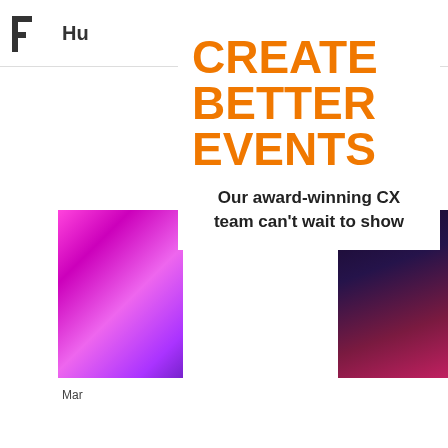[Figure (screenshot): Website navigation bar with logo mark (H-like symbol), partial company name 'Hu', and hamburger menu icon on the right]
CREATE BETTER EVENTS
Our award-winning CX team can't wait to show
[Figure (photo): Pink and magenta gradient abstract image on the left side]
[Figure (photo): Dark purple and magenta gradient abstract image on the right side]
Mar
This website stores data such as cookies to enable essential site functionality, as well as marketing, personalization, and analytics. By remaining on this website you indicate your consent.
Privacy Policy